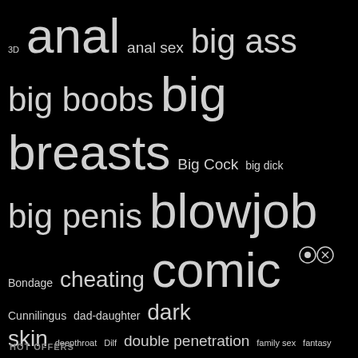[Figure (infographic): Tag cloud / word cloud on black background listing adult content categories in varying font sizes indicating popularity. Terms include: 3D, anal, anal sex, big ass, big boobs, big breasts, Big Cock, big dick, big penis, blowjob, Bondage, cheating, comic, Cunnilingus, dad-daughter, dark skin, deepthroat, Dilf, double penetration, family sex, fantasy, full color, Furry, futanari, glasses, group, Hardcore, incest, interracial, lesbian, masturbation, milf, milftoon, mom son, muscle, nakadashi, Oral sex, parody, seduced, Sex Toys, shemale, slut, stockings, western, yuri]
HOT OFFERS